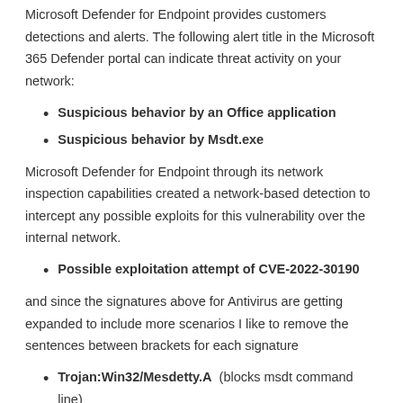Microsoft Defender for Endpoint provides customers detections and alerts. The following alert title in the Microsoft 365 Defender portal can indicate threat activity on your network:
Suspicious behavior by an Office application
Suspicious behavior by Msdt.exe
Microsoft Defender for Endpoint through its network inspection capabilities created a network-based detection to intercept any possible exploits for this vulnerability over the internal network.
Possible exploitation attempt of CVE-2022-30190
and since the signatures above for Antivirus are getting expanded to include more scenarios I like to remove the sentences between brackets for each signature
Trojan:Win32/Mesdetty.A  (blocks msdt command line)
Trojan:Win32/Mesdetty.B  (blocks msdt command line)